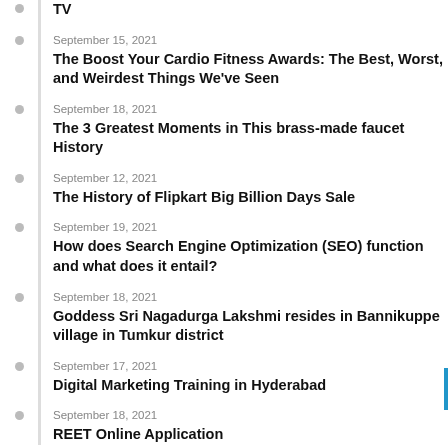TV (partial title continuation)
September 15, 2021 — The Boost Your Cardio Fitness Awards: The Best, Worst, and Weirdest Things We've Seen
September 18, 2021 — The 3 Greatest Moments in This brass-made faucet History
September 12, 2021 — The History of Flipkart Big Billion Days Sale
September 19, 2021 — How does Search Engine Optimization (SEO) function and what does it entail?
September 18, 2021 — Goddess Sri Nagadurga Lakshmi resides in Bannikuppe village in Tumkur district
September 17, 2021 — Digital Marketing Training in Hyderabad
September 18, 2021 — REET Online Application